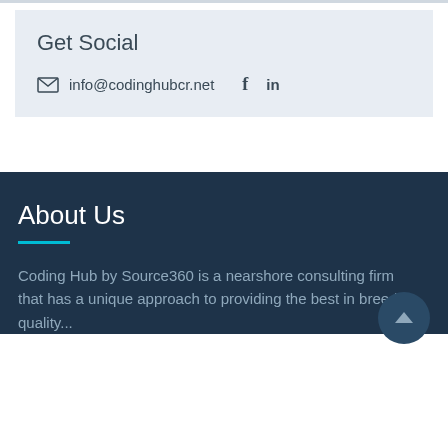Get Social
✉ info@codinghubcr.net  f  in
About Us
Coding Hub by Source360 is a nearshore consulting firm that has a unique approach to providing the best in breed, quality...